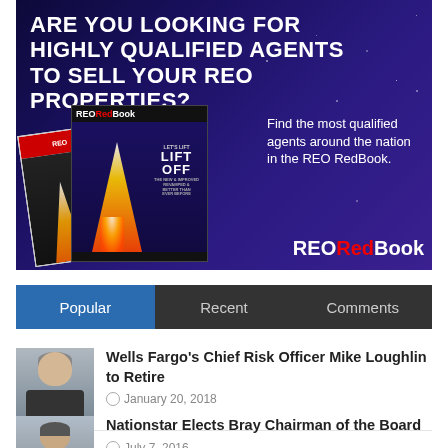[Figure (infographic): REO RedBook advertisement with dark blue/purple starfield background. Bold white uppercase headline 'ARE YOU LOOKING FOR HIGHLY QUALIFIED AGENTS TO SELL YOUR REO PROPERTIES?' Two magazine covers shown with rocket launch imagery and 'LIFT OFF' text. Right side text 'Find the most qualified agents around the nation in the REO RedBook.' Bottom branding 'REORedBook' with 'Red' in red letters.]
Popular
Recent
Comments
Wells Fargo's Chief Risk Officer Mike Loughlin to Retire
January 20, 2018
Nationstar Elects Bray Chairman of the Board
July 7, 2016